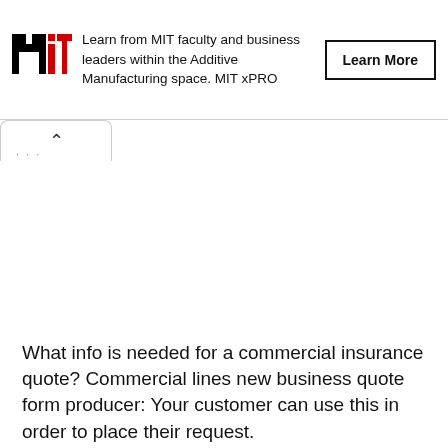[Figure (other): MIT xPRO advertisement banner with MIT logo, text about learning from MIT faculty and business leaders in Additive Manufacturing space, and a Learn More button]
What info is needed for a commercial insurance quote? Commercial lines new business quote form producer: Your customer can use this in order to place their request.